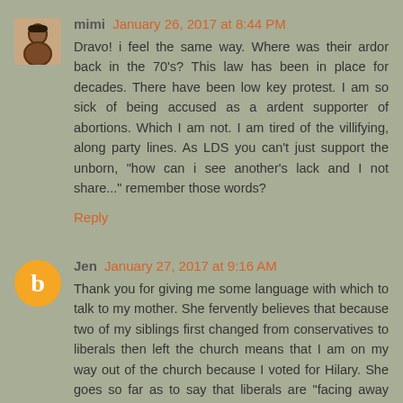mimi January 26, 2017 at 8:44 PM
Dravo! i feel the same way. Where was their ardor back in the 70's? This law has been in place for decades. There have been low key protest. I am so sick of being accused as a ardent supporter of abortions. Which I am not. I am tired of the villifying, along party lines. As LDS you can't just support the unborn, "how can i see another's lack and I not share..." remember those words?
Reply
Jen January 27, 2017 at 9:16 AM
Thank you for giving me some language with which to talk to my mother. She fervently believes that because two of my siblings first changed from conservatives to liberals then left the church means that I am on my way out of the church because I voted for Hilary. She goes so far as to say that liberals are "facing away from God" while conservatives are "facing toward God". In many ways, I feel the opposite is true. Lately I feel I am having the rebel teenage years I missed as an actual teenager.